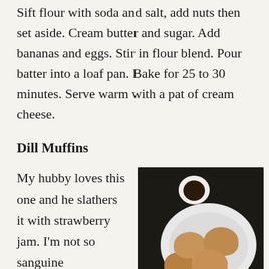Sift flour with soda and salt, add nuts then set aside. Cream butter and sugar. Add bananas and eggs. Stir in flour blend. Pour batter into a loaf pan. Bake for 25 to 30 minutes. Serve warm with a pat of cream cheese.
Dill Muffins
My hubby loves this one and he slathers it with strawberry jam. I'm not so sanguine
[Figure (photo): Overhead photo of muffins on a white plate with a small cup of dark sauce, on a dark background with foliage]
regarding the mixture of dill and strawberries, but